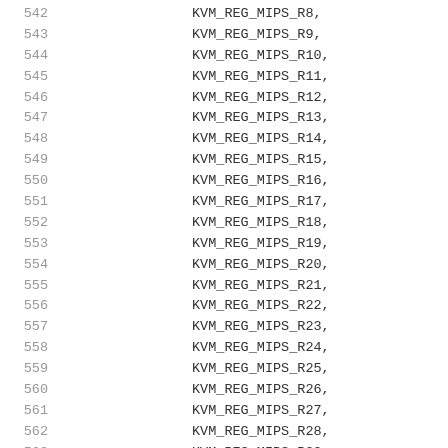542	KVM_REG_MIPS_R8,
543	KVM_REG_MIPS_R9,
544	KVM_REG_MIPS_R10,
545	KVM_REG_MIPS_R11,
546	KVM_REG_MIPS_R12,
547	KVM_REG_MIPS_R13,
548	KVM_REG_MIPS_R14,
549	KVM_REG_MIPS_R15,
550	KVM_REG_MIPS_R16,
551	KVM_REG_MIPS_R17,
552	KVM_REG_MIPS_R18,
553	KVM_REG_MIPS_R19,
554	KVM_REG_MIPS_R20,
555	KVM_REG_MIPS_R21,
556	KVM_REG_MIPS_R22,
557	KVM_REG_MIPS_R23,
558	KVM_REG_MIPS_R24,
559	KVM_REG_MIPS_R25,
560	KVM_REG_MIPS_R26,
561	KVM_REG_MIPS_R27,
562	KVM_REG_MIPS_R28,
563	KVM_REG_MIPS_R29,